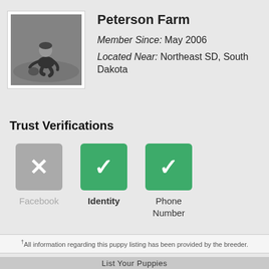[Figure (photo): Black and white photo of a child sitting outdoors on grass, appears to be with a small animal or ball]
Peterson Farm
Member Since: May 2006
Located Near: Northeast SD, South Dakota
Trust Verifications
Facebook (not verified)
Identity (verified)
Phone Number (verified)
†All information regarding this puppy listing has been provided by the breeder.
List Your Puppies